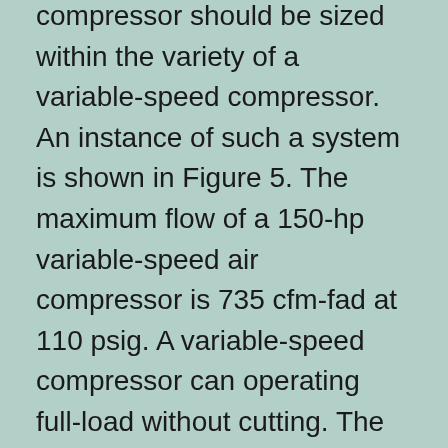compressor should be sized within the variety of a variable-speed compressor. An instance of such a system is shown in Figure 5. The maximum flow of a 150-hp variable-speed air compressor is 735 cfm-fad at 110 psig. A variable-speed compressor can operating full-load without cutting. The control range of this air compressor is approximately 585 cfm-fad at 110 psig.
Oil-free
Buying an industrial air compressor can be a frustrating job. While oil-free compressors assure lowered costs, they are not without their